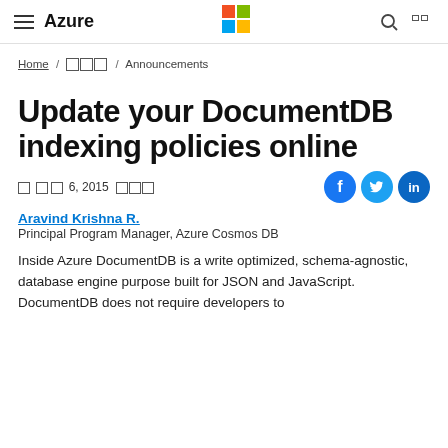Azure — Microsoft
Home / □□□ / Announcements
Update your DocumentDB indexing policies online
□ □□ 6, 2015 □□□
Aravind Krishna R.
Principal Program Manager, Azure Cosmos DB
Inside Azure DocumentDB is a write optimized, schema-agnostic, database engine purpose built for JSON and JavaScript. DocumentDB does not require developers to